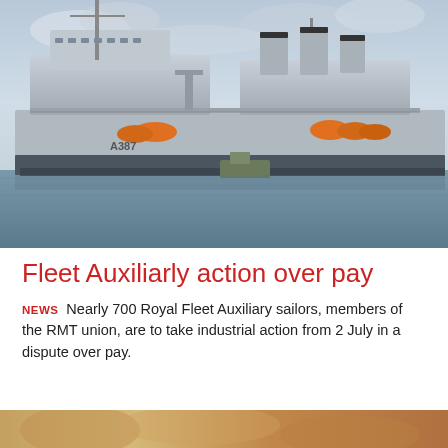[Figure (photo): Royal Fleet Auxiliary ship A387 moored at port, grey hull with orange lifeboats, overcast sky, tugboat alongside]
Fleet Auxiliarly action over pay
NEWS Nearly 700 Royal Fleet Auxiliary sailors, members of the RMT union, are to take industrial action from 2 July in a dispute over pay.
[Figure (photo): Partial bottom image, colorful scene partially visible]